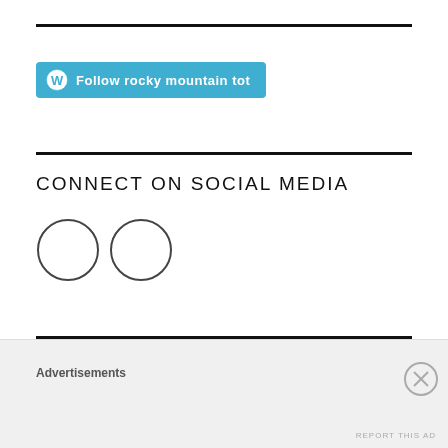[Figure (other): Horizontal black rule divider]
[Figure (other): WordPress Follow button — blue rounded button with WordPress icon and text 'Follow rocky mountain tot']
[Figure (other): Horizontal black rule divider]
CONNECT ON SOCIAL MEDIA
[Figure (other): Two circular social media icon placeholders (outlines only)]
[Figure (other): Horizontal black rule divider]
GO TO GUIDES
Advertisements
REPORT THIS AD